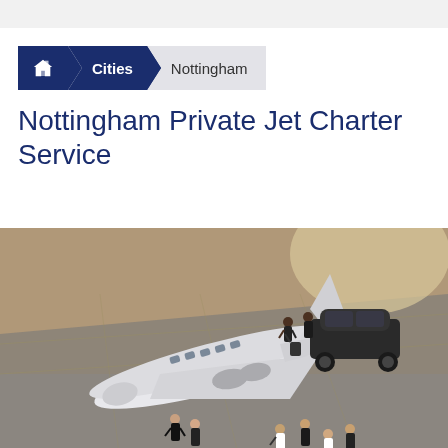[Figure (screenshot): Breadcrumb navigation with home icon, Cities, and Nottingham]
Nottingham Private Jet Charter Service
[Figure (photo): Aerial view of a white private jet on tarmac surrounded by business people in formal attire, with a dark luxury car parked nearby]